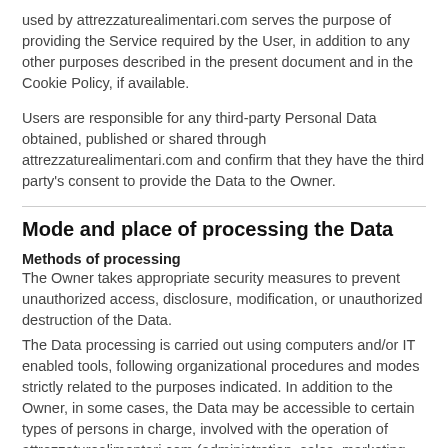used by attrezzaturealimentari.com serves the purpose of providing the Service required by the User, in addition to any other purposes described in the present document and in the Cookie Policy, if available.
Users are responsible for any third-party Personal Data obtained, published or shared through attrezzaturealimentari.com and confirm that they have the third party's consent to provide the Data to the Owner.
Mode and place of processing the Data
Methods of processing
The Owner takes appropriate security measures to prevent unauthorized access, disclosure, modification, or unauthorized destruction of the Data.
The Data processing is carried out using computers and/or IT enabled tools, following organizational procedures and modes strictly related to the purposes indicated. In addition to the Owner, in some cases, the Data may be accessible to certain types of persons in charge, involved with the operation of attrezzaturealimentari.com (administration, sales, marketing, legal, system administration) or external parties (such as third-party technical service providers, mail carriers, hosting providers,